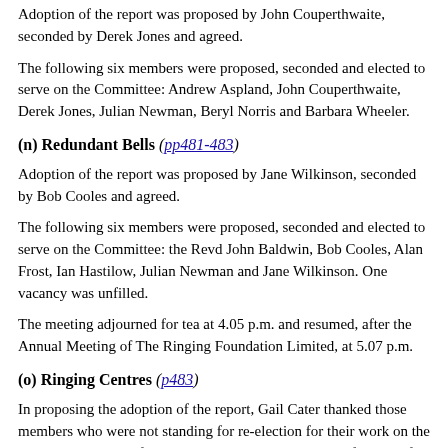Adoption of the report was proposed by John Couperthwaite, seconded by Derek Jones and agreed.
The following six members were proposed, seconded and elected to serve on the Committee: Andrew Aspland, John Couperthwaite, Derek Jones, Julian Newman, Beryl Norris and Barbara Wheeler.
(n) Redundant Bells (pp481-483)
Adoption of the report was proposed by Jane Wilkinson, seconded by Bob Cooles and agreed.
The following six members were proposed, seconded and elected to serve on the Committee: the Revd John Baldwin, Bob Cooles, Alan Frost, Ian Hastilow, Julian Newman and Jane Wilkinson. One vacancy was unfilled.
The meeting adjourned for tea at 4.05 p.m. and resumed, after the Annual Meeting of The Ringing Foundation Limited, at 5.07 p.m.
(o) Ringing Centres (p483)
In proposing the adoption of the report, Gail Cater thanked those members who were not standing for re-election for their work on the Committee. Entries for the Founders Prizes were again few but of a continuing high standard: only two entries from ringing